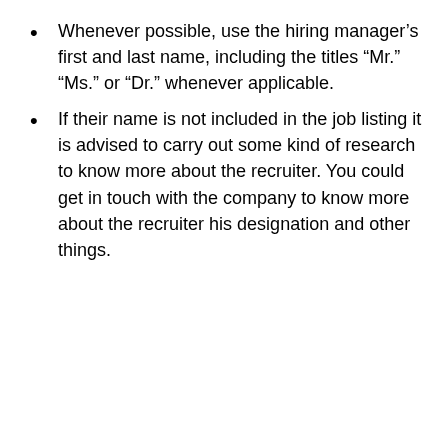Whenever possible, use the hiring manager's first and last name, including the titles “Mr.” “Ms.” or “Dr.” whenever applicable.
If their name is not included in the job listing it is advised to carry out some kind of research to know more about the recruiter. You could get in touch with the company to know more about the recruiter his designation and other things.